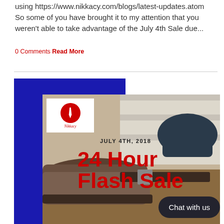using https://www.nikkacy.com/blogs/latest-updates.atom So some of you have brought it to my attention that you weren't able to take advantage of the July 4th Sale due...
0 Comments Read More
[Figure (photo): Blue background banner ad with shoe brand logo (red circle with white tie icon and brand name 'Nikkacy'), date 'JULY 4TH, 2018', large red text '24 Hour Flash Sale' overlaid on photograph of men's leather shoes. Chat with us button overlay in bottom right.]